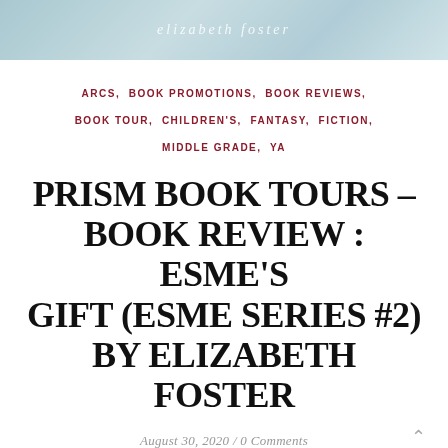[Figure (illustration): Book cover header image with teal/blue gradient background and the text 'elizabeth foster' in white italic letters]
ARCS, BOOK PROMOTIONS, BOOK REVIEWS, BOOK TOUR, CHILDREN'S, FANTASY, FICTION, MIDDLE GRADE, YA
PRISM BOOK TOURS – BOOK REVIEW : ESME'S GIFT (ESME SERIES #2) BY ELIZABETH FOSTER
August 30, 2020 / 0 Comments
Esme's Gift is the second book in the Esme series. This book was so much fun, and I loved